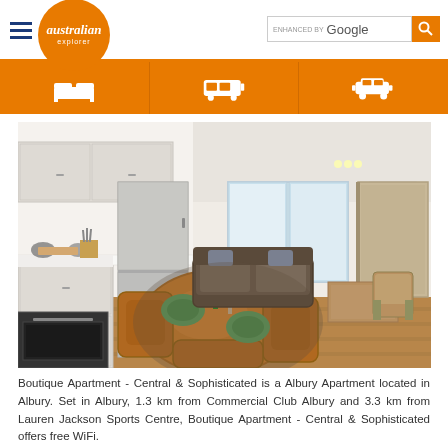Australian Explorer - ENHANCED BY Google
[Figure (photo): Interior photo of a boutique apartment showing open-plan kitchen with stainless steel fridge, white cabinets, dining table with wooden chairs and green plates, and living area with sofa and windows in the background]
Boutique Apartment - Central & Sophisticated is a Albury Apartment located in Albury. Set in Albury, 1.3 km from Commercial Club Albury and 3.3 km from Lauren Jackson Sports Centre, Boutique Apartment - Central & Sophisticated offers free WiFi.